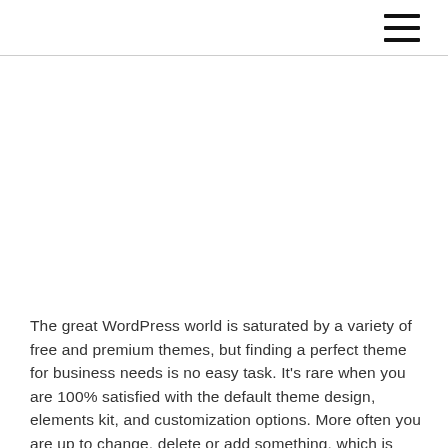[Figure (other): White/blank image placeholder area below the header navigation bar]
The great WordPress world is saturated by a variety of free and premium themes, but finding a perfect theme for business needs is no easy task. It's rare when you are 100% satisfied with the default theme design, elements kit, and customization options. More often you are up to change, delete or add something, which is beyond […]